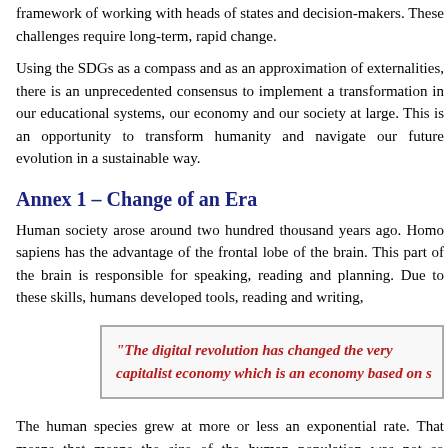framework of working with heads of states and decision-makers. These challenges require long-term, rapid change.
Using the SDGs as a compass and as an approximation of externalities, there is an unprecedented consensus to implement a transformation in our educational systems, our economy and our society at large. This is an opportunity to transform humanity and navigate our future evolution in a sustainable way.
Annex 1 – Change of an Era
Human society arose around two hundred thousand years ago. Homo sapiens has the advantage of the frontal lobe of the brain. This part of the brain is responsible for speaking, reading and planning. Due to these skills, humans developed tools, reading and writing,
“The digital revolution has changed the very capitalist economy which is an economy based on s
The human species grew at more or less an exponential rate. That means that for a long time, size of the human population was not so impressive. As soon as the process of exponential growth reaches its maturity the absolute level becomes quite alarming. Over 200,000 yea